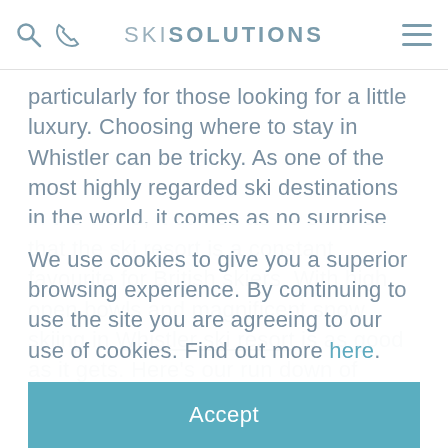SKI SOLUTIONS
particularly for those looking for a little luxury. Choosing where to stay in Whistler can be tricky. As one of the most highly regarded ski destinations in the world, it comes as no surprise that the ski resort is a constant favourite for British skiers. With high open bowls and magnificent snow skiing in Whistler ski resort is as good as it gets. Here's our run down of where to stay in
We use cookies to give you a superior browsing experience. By continuing to use the site you are agreeing to our use of cookies. Find out more here.
Accept